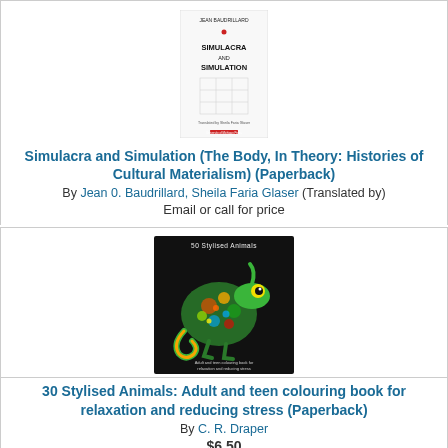[Figure (photo): Book cover of Simulacra and Simulation by Jean Baudrillard, white cover with grid lines]
Simulacra and Simulation (The Body, In Theory: Histories of Cultural Materialism) (Paperback)
By Jean 0. Baudrillard, Sheila Faria Glaser (Translated by)
Email or call for price
[Figure (photo): Book cover of 50 Stylised Animals showing a colorful chameleon on black background]
30 Stylised Animals: Adult and teen colouring book for relaxation and reducing stress (Paperback)
By C. R. Draper
$6.50